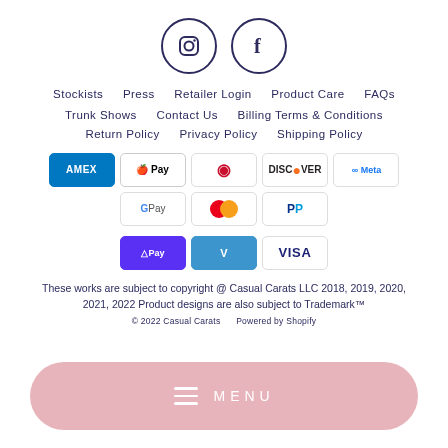[Figure (illustration): Two circular social media icons: Instagram (camera icon) and Facebook (f icon), outlined in dark navy/purple]
Stockists   Press   Retailer Login   Product Care   FAQs
Trunk Shows   Contact Us   Billing Terms & Conditions
Return Policy   Privacy Policy   Shipping Policy
[Figure (other): Payment method icons: Amex, Apple Pay, Diners Club, Discover, Meta Pay, Google Pay, Mastercard, PayPal, Shop Pay, Venmo, Visa]
These works are subject to copyright @ Casual Carats LLC 2018, 2019, 2020, 2021, 2022 Product designs are also subject to Trademark™
© 2022 Casual Carats   Powered by Shopify
[Figure (other): Pink rounded rectangle menu button with hamburger icon and MENU text]